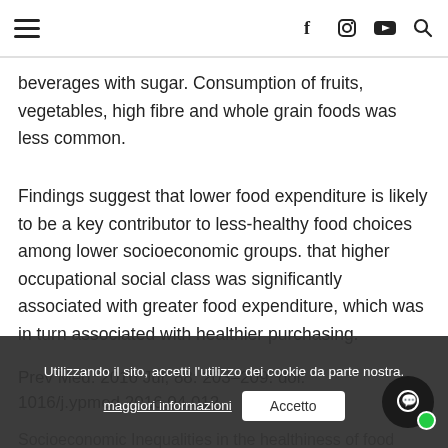≡  [navigation icons: f, instagram, youtube, search]
beverages with sugar. Consumption of fruits, vegetables, high fibre and whole grain foods was less common.
Findings suggest that lower food expenditure is likely to be a key contributor to less-healthy food choices among lower socioeconomic groups. that higher occupational social class was significantly associated with greater food expenditure, which was in turn associated with healthier purchasing.
Prev Med. 2016 Jul; 88: 203–209. doi: 1016/j.ypmed.2016.04.012
Socioeconomic Inequalities in the healthiness of food choices: Exploring the contribution of food expenditure… Rachel Pe… and Pablo Monsivaisb,*
Utilizzando il sito, accetti l'utilizzo dei cookie da parte nostra. maggiori informazioni  Accetto